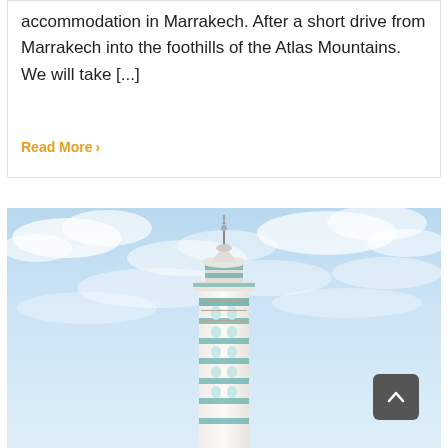accommodation in Marrakech. After a short drive from Marrakech into the foothills of the Atlas Mountains. We will take [...]
Read More >
[Figure (photo): Photo of a tall ornate mosque minaret (Hassan II Mosque style) with teal/green tile decorations rising against a bright blue sky with white wispy clouds]